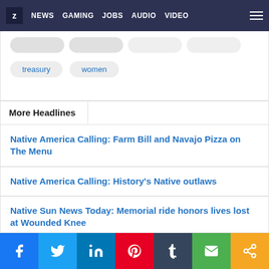Z NEWS GAMING JOBS AUDIO VIDEO
treasury
women
More Headlines
Native America Calling: Farm Bill and Navajo Pizza on The Menu
Native America Calling: History's Native outlaws
Native Sun News Today: Memorial ride honors lives lost at Wounded Knee
f  Twitter  in  Pinterest  Tumblr  Email  Share